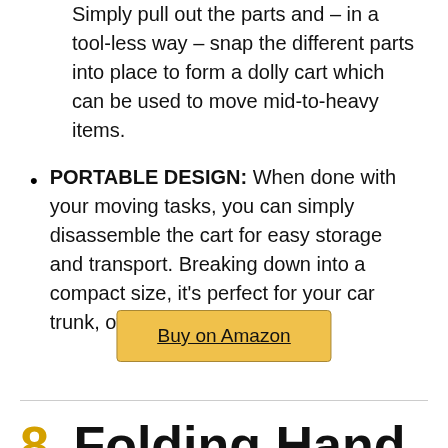Simply pull out the parts and – in a tool-less way – snap the different parts into place to form a dolly cart which can be used to move mid-to-heavy items.
PORTABLE DESIGN: When done with your moving tasks, you can simply disassemble the cart for easy storage and transport. Breaking down into a compact size, it's perfect for your car trunk, office or house.
Buy on Amazon
8. Folding Hand Truck 155